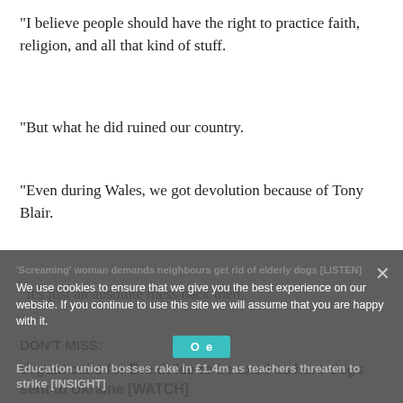“I believe people should have the right to practice faith, religion, and all that kind of stuff.
“But what he did ruined our country.
“Even during Wales, we got devolution because of Tony Blair.
“It’s just an absolute mess back then.
DON’T MISS:
Urgent calls for Brexit fee to be axed as hero dogs sent to Ukraine [WATCH]
'Screaming' woman demands neighbours get rid of elderly dogs [LISTEN]
Education union bosses rake in £1.4m as teachers threaten to strike [INSIGHT]
Cookie notice: We use cookies to ensure that we give you the best experience on our website. If you continue to use this site we will assume that you are happy with it.